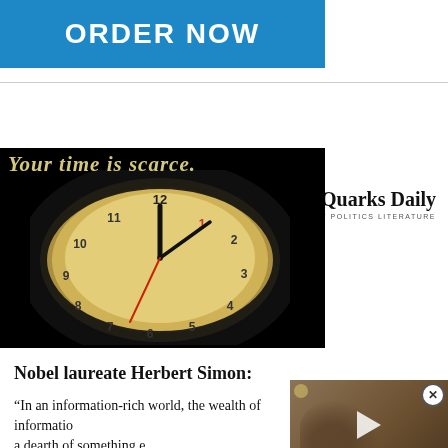[Figure (infographic): Blue ORDER NOW banner button]
≡ MENU   3 Quarks Daily
SCIENCE ARTS PHILOSOPHY POLITICS LITERATURE
[Figure (photo): Clock face illuminated against black background with text 'Your time is scarce' partially visible]
Nobel laureate Herbert Simon:
“In an information-rich world, the wealth of information creates a dearth of something else: a scarcity of whatever it is that information consumes. What information consumes is obvious: it consumes the...
[Figure (screenshot): Video overlay thumbnail showing animal embryo/creature with play button]